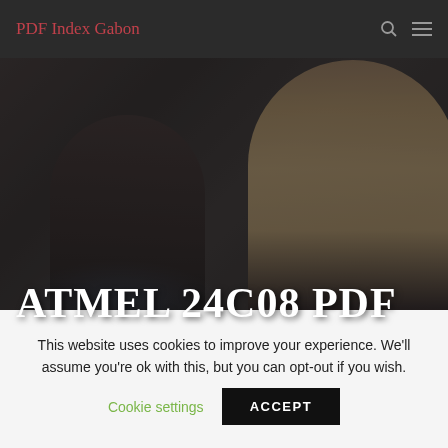PDF Index Gabon
[Figure (photo): Two people (one with dark hair, one with blonde hair) looking at a computer monitor in a dark office setting, with dark overlay]
ATMEL 24C08 PDF
This website uses cookies to improve your experience. We'll assume you're ok with this, but you can opt-out if you wish.
Cookie settings   ACCEPT